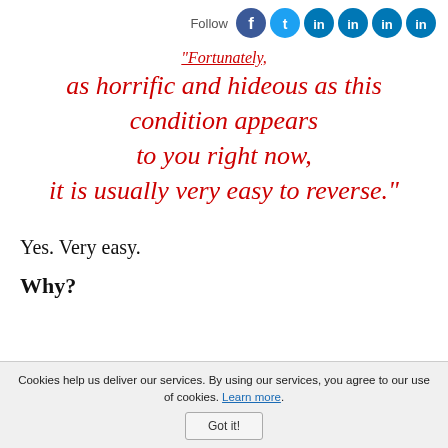Follow [social icons: Facebook, Twitter, LinkedIn x4]
"Fortunately, as horrific and hideous as this condition appears to you right now, it is usually very easy to reverse."
Yes. Very easy.
Why?
Cookies help us deliver our services. By using our services, you agree to our use of cookies. Learn more. Got it!